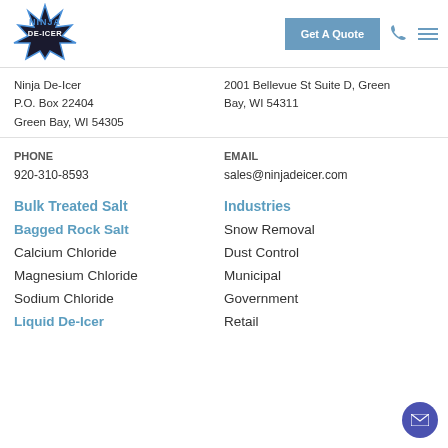Ninja De-Icer | Get A Quote
Ninja De-Icer
P.O. Box 22404
Green Bay, WI 54305
2001 Bellevue St Suite D, Green Bay, WI 54311
PHONE
EMAIL
920-310-8593
sales@ninjadeicer.com
Bulk Treated Salt
Industries
Bagged Rock Salt
Snow Removal
Calcium Chloride
Dust Control
Magnesium Chloride
Municipal
Sodium Chloride
Government
Liquid De-Icer
Retail